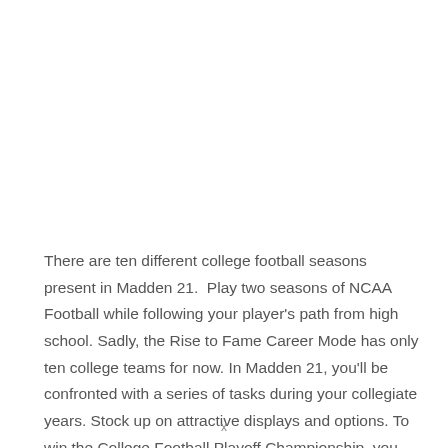There are ten different college football seasons present in Madden 21.  Play two seasons of NCAA Football while following your player's path from high school. Sadly, the Rise to Fame Career Mode has only ten college teams for now. In Madden 21, you'll be confronted with a series of tasks during your collegiate years. Stock up on attractive displays and options. To win the College Football Playoff Championship, you must first win the regular
x